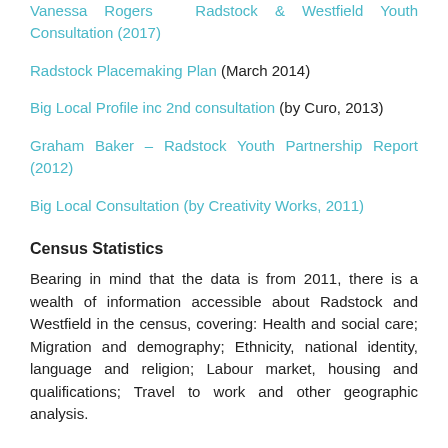Vanessa Rogers – Radstock & Westfield Youth Consultation (2017)
Radstock Placemaking Plan (March 2014)
Big Local Profile inc 2nd consultation (by Curo, 2013)
Graham Baker – Radstock Youth Partnership Report (2012)
Big Local Consultation (by Creativity Works, 2011)
Census Statistics
Bearing in mind that the data is from 2011, there is a wealth of information accessible about Radstock and Westfield in the census, covering: Health and social care; Migration and demography; Ethnicity, national identity, language and religion; Labour market, housing and qualifications; Travel to work and other geographic analysis.